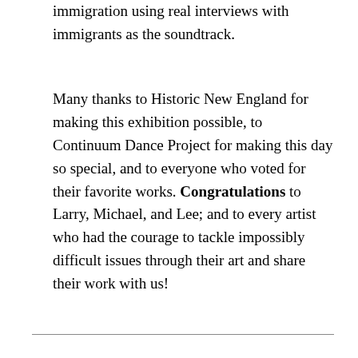immigration using real interviews with immigrants as the soundtrack.
Many thanks to Historic New England for making this exhibition possible, to Continuum Dance Project for making this day so special, and to everyone who voted for their favorite works. Congratulations to Larry, Michael, and Lee; and to every artist who had the courage to tackle impossibly difficult issues through their art and share their work with us!